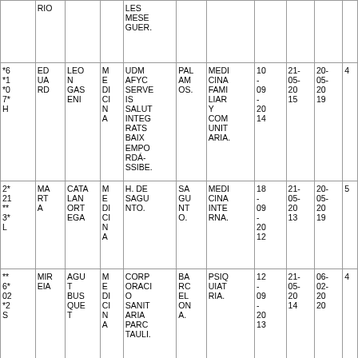|  | RIO |  |  | LES MESE GUER. |  |  |  |  |  |  |
| *6 *1 *0 7* H | ED UA RD | LEO N GAS ENI | M E DI CI N A | UDM AFYC SERVE IS SALUT INTEG RATS BAIX EMPO RDÁ- SSIBE. | PAL AM OS. | MEDI CINA FAMI LIAR Y COM UNIT ARIA. | 10 - 09 - 20 14 | 21- 05- 20 15 | 20- 05- 20 19 | 4 |
| 2* 21 ** 3* L | MA RT A | CATA LAN ORT EGA | M E DI CI N A | H. DE SAGU NTO. | SA GU NT O. | MEDI CINA INTE RNA. | 18 - 09 - 20 13 | 21- 05- 20 13 | 20- 05- 20 19 | 5 |
| ** 6* 02 *2 S | MIR EIA | AGU T BUS QUE T | M E DI CI N A | CORP ORACI O SANIT ARIA PARC TAULI. | BA RC EL ON A. | PSIQ UIAT RIA. | 12 - 09 - 20 13 | 21- 05- 20 14 | 06- 02- 20 20 | 4 |